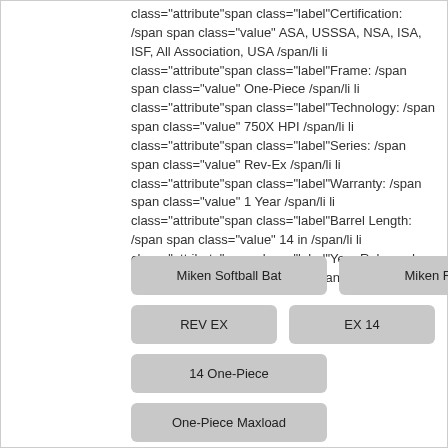class="attribute"span class="label"Certification: /span span class="value" ASA, USSSA, NSA, ISA, ISF, All Association, USA /span/li li class="attribute"span class="label"Frame: /span span class="value" One-Piece /span/li li class="attribute"span class="label"Technology: /span span class="value" 750X HPI /span/li li class="attribute"span class="label"Series: /span span class="value" Rev-Ex /span/li li class="attribute"span class="label"Warranty: /span span class="value" 1 Year /span/li li class="attribute"span class="label"Barrel Length: /span span class="value" 14 in /span/li li class="attribute"span class="label"Year Released: /span span class="value" 2021/span/li /ul $199.95
Miken Softball Bat
Miken REV
REV EX
EX 14
14 One-Piece
One-Piece Maxload